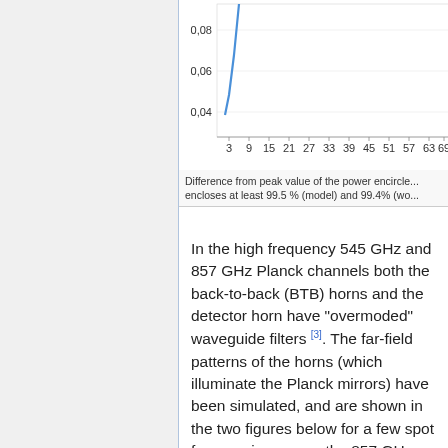[Figure (continuous-plot): Partial view of a line chart showing values on y-axis (0.04, 0.06, 0.08) and x-axis tick labels (3, 9, 15, 21, 27, 33, 39, 45, 51, 57, 63, 69, ...). A steeply rising blue line is visible at the left side of the chart, rising from approximately 0.05 at x=3 to above 0.08 at x=7.]
Difference from peak value of the power encircle... encloses at least 99.5 % (model) and 99.4% (wo...
In the high frequency 545 GHz and 857 GHz Planck channels both the back-to-back (BTB) horns and the detector horn have "overmoded" waveguide filters [3]. The far-field patterns of the horns (which illuminate the Planck mirrors) have been simulated, and are shown in the two figures below for a few spot frequencies across the 857 GHz band. Note that the edge taper is approx -30 dB at 25°, as required at the centre of the band. Superimposed is the broadband...